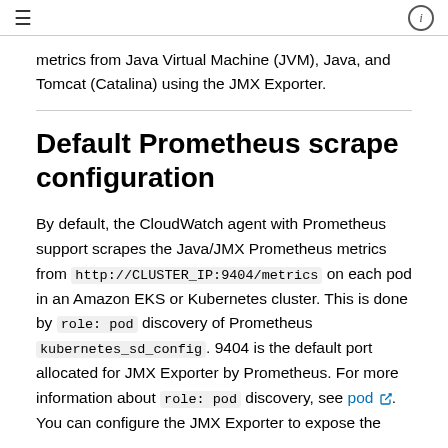≡   ⓘ
metrics from Java Virtual Machine (JVM), Java, and Tomcat (Catalina) using the JMX Exporter.
Default Prometheus scrape configuration
By default, the CloudWatch agent with Prometheus support scrapes the Java/JMX Prometheus metrics from http://CLUSTER_IP:9404/metrics on each pod in an Amazon EKS or Kubernetes cluster. This is done by role: pod discovery of Prometheus kubernetes_sd_config. 9404 is the default port allocated for JMX Exporter by Prometheus. For more information about role: pod discovery, see pod. You can configure the JMX Exporter to expose the